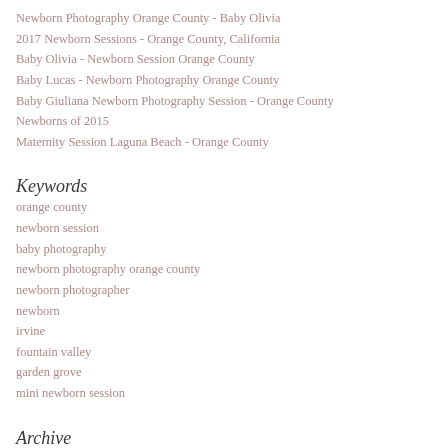Newborn Photography Orange County - Baby Olivia
2017 Newborn Sessions - Orange County, California
Baby Olivia - Newborn Session Orange County
Baby Lucas - Newborn Photography Orange County
Baby Giuliana Newborn Photography Session - Orange County
Newborns of 2015
Maternity Session Laguna Beach - Orange County
Keywords
orange county
newborn session
baby photography
newborn photography orange county
newborn photographer
newborn
irvine
fountain valley
garden grove
mini newborn session
Archive
« 2021  2022